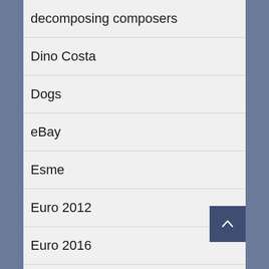decomposing composers
Dino Costa
Dogs
eBay
Esme
Euro 2012
Euro 2016
Fashion
Figure Skating